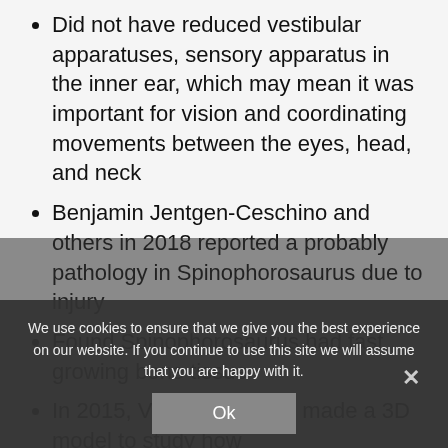Did not have reduced vestibular apparatuses, sensory apparatus in the inner ear, which may mean it was important for vision and coordinating movements between the eyes, head, and neck
Benjamin Jentgen-Ceschino and others in 2018 reported a probably pathology in Spinophorosaurus due to injury
Found Spinophorosaurus had fast growing bone tissue
In 2015, Vidal and others made a 3D model to study how Spinophorosaurus moved and found it couldn't move its tail much (had ankylosaurs)
In 2020, Daniel [others] looked at similarities bet[ween g]iraffe and sauropod necks as they grow up
We use cookies to ensure that we give you the best experience on our website. If you continue to use this site we will assume that you are happy with it.